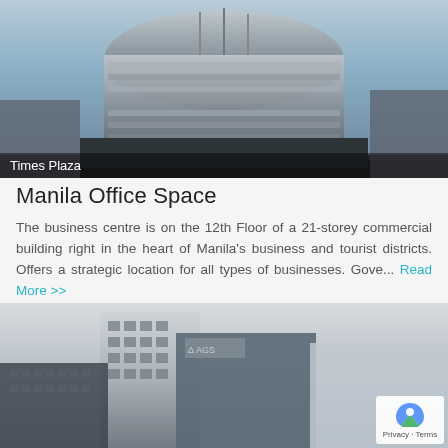[Figure (photo): Exterior photo of Times Plaza building, a modern curved glass office tower, viewed from below against a cloudy sky]
Times Plaza
Manila Office Space
The business centre is on the 12th Floor of a 21-storey commercial building right in the heart of Manila's business and tourist districts. Offers a strategic location for all types of businesses. Gove... Read More >>
[Figure (photo): Exterior photo of a modern multi-storey office building with rectangular windows and a logo on the top, against a cloudy sky]